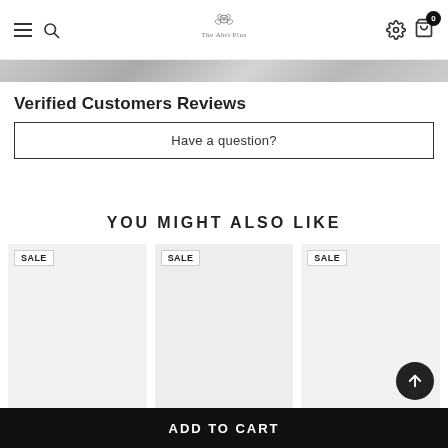Navigation header with hamburger menu, search icon, logo 'The Abri Plus', settings icon, and cart with badge 0
[Figure (photo): Gray gradient banner strip at top of content area]
Verified Customers Reviews
Have a question?
YOU MIGHT ALSO LIKE
[Figure (other): Three product tiles each with SALE badge, product images not loaded]
ADD TO CART